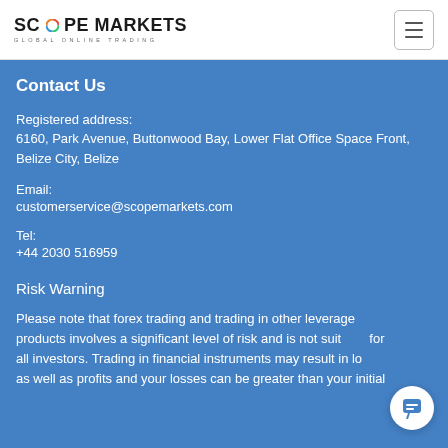[Figure (logo): Scope Markets Global Online Trading logo with colored circle in 'O']
Contact Us
Registered address:
6160, Park Avenue, Buttonwood Bay, Lower Flat Office Space Front, Belize City, Belize
Email:
customerservice@scopemarkets.com
Tel:
+44 2030 516959
Risk Warning
Please note that forex trading and trading in other leveraged products involves a significant level of risk and is not suitable for all investors. Trading in financial instruments may result in losses as well as profits and your losses can be greater than your initial